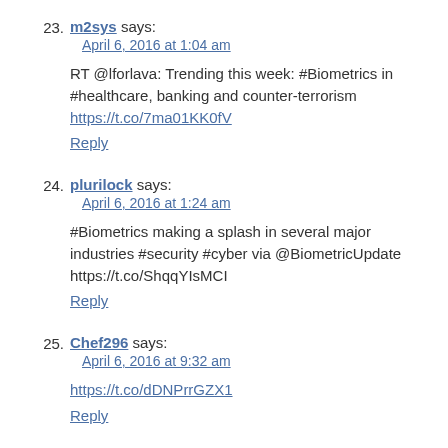23. m2sys says: April 6, 2016 at 1:04 am
RT @lforlava: Trending this week: #Biometrics in #healthcare, banking and counter-terrorism https://t.co/7ma01KK0fV
Reply
24. plurilock says: April 6, 2016 at 1:24 am
#Biometrics making a splash in several major industries #security #cyber via @BiometricUpdate https://t.co/ShqqYIsMCI
Reply
25. Chef296 says: April 6, 2016 at 9:32 am
https://t.co/dDNPrrGZX1
Reply